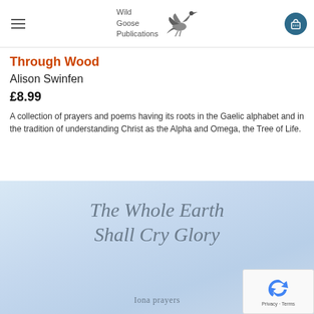Wild Goose Publications
Through Wood
Alison Swinfen
£8.99
A collection of prayers and poems having its roots in the Gaelic alphabet and in the tradition of understanding Christ as the Alpha and Omega, the Tree of Life.
[Figure (photo): Book cover image showing 'The Whole Earth Shall Cry Glory - Iona prayers' with a pale blue sky background and italic grey text]
Privacy · Terms